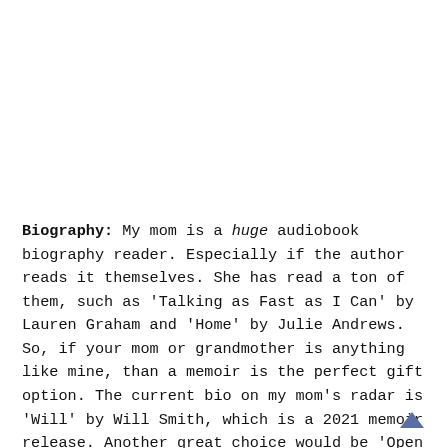Biography: My mom is a huge audiobook biography reader. Especially if the author reads it themselves. She has read a ton of them, such as 'Talking as Fast as I Can' by Lauren Graham and 'Home' by Julie Andrews. So, if your mom or grandmother is anything like mine, than a memoir is the perfect gift option. The current bio on my mom's radar is 'Will' by Will Smith, which is a 2021 memoir release. Another great choice would be 'Open Book' by Jessica Simpson, which mom says is